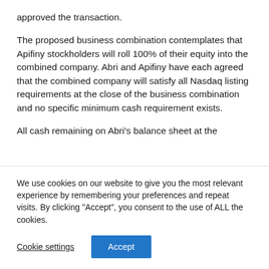approved the transaction.
The proposed business combination contemplates that Apifiny stockholders will roll 100% of their equity into the combined company. Abri and Apifiny have each agreed that the combined company will satisfy all Nasdaq listing requirements at the close of the business combination and no specific minimum cash requirement exists.
All cash remaining on Abri’s balance sheet at the
We use cookies on our website to give you the most relevant experience by remembering your preferences and repeat visits. By clicking “Accept”, you consent to the use of ALL the cookies.
Cookie settings
Accept